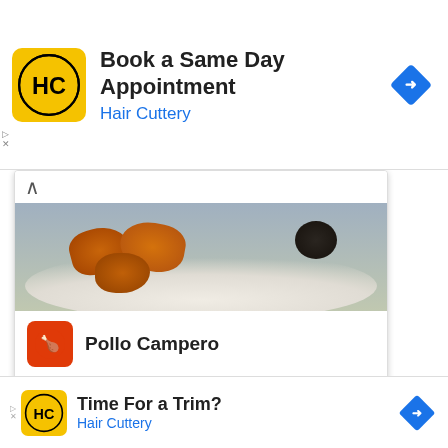[Figure (screenshot): Google ad banner for Hair Cuttery - Book a Same Day Appointment with HC logo and navigation icon]
[Figure (screenshot): Google Maps card showing Pollo Campero restaurant with food photo, logo, and location info for Herndon 10AM-10PM]
-ADVERTISEMENT-
[Figure (screenshot): Video player showing dark background with circular play icon and text: How To Open 7 Chakras - Meditation and Healing - SunSigns.Org]
[Figure (screenshot): Bottom Google ad for Hair Cuttery - Time For a Trim? with HC logo and navigation icon]